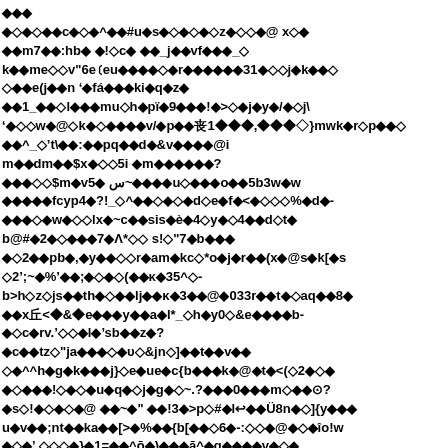🔶🔶🔶
🔶🔷🔶🔷🔶🔶c🔶🔷🔶^🔶🔶#u🔶s🔶🔷🔶🔷🔶🔷z🔶🔷🔷🔶@ x🔷🔶
🔶🔶m7🔶🔶:hb🔶 🔶!🔷c🔶 🔶🔶_j🔶🔶vf🔶🔶🔶_🔷
k🔶🔶me🔷🔷v"6eɾeu🔶🔶🔶🔶🔷🔶r🔶🔶🔶🔶🔶🔶31🔶🔷🔷j🔶k🔶🔶🔷
🔷🔶🔶e(j🔶🔶n ,'🔶fá🔶🔶🔶ki🔶q🔶z🔶
🔶🔶1_🔶🔶🔷l🔶🔶🔶mu🔷h🔶pï🔶9🔶🔶🔶!🔶>🔷🔶j🔶y🔶/🔶🔷j\
'🔶🔷🔷w🔶@🔷k🔶🔷🔶🔶🔶🔶v/🔶p🔶🔶ч1🔶🔶🔶,🔶🔶🔶🔷}mwk🔶r🔷p🔶🔶🔷
🔶🔶^_🔷't\🔶🔶:🔶🔶pq🔶🔶d🔶&v🔶🔶🔶🔶@i
m🔶🔶dm🔶🔶$x🔶🔷🔷5i 🔶m🔶🔶🔶🔶🔶🔶?
🔶🔶🔶🔷🔷$m🔶v5🔶 ؟~🔶🔶🔶🔶u🔷🔶🔶🔶o🔶🔶5b3w🔶w
🔶🔶🔶🔶🔶fcyp4🔶?!_🔷^🔶🔶🔷🔶🔷🔶d🔷e🔶f🔶<🔶🔷🔷🔷%🔶d🔶-
🔶🔶🔶🔷🔶w🔶🔷🔷lx🔶~c🔶🔶sis🔶è🔶4🔷y🔶🔷4🔶🔶d🔷t🔶
b@#🔶2🔶🔷🔶🔶🔶7🔶Λ*🔷🔷 s!🔷"7🔶b🔶🔶🔶
🔶🔷2🔶🔶pb🔶,🔶y🔶🔶🔷🔷r🔶am🔶kc🔷*o🔶j🔶r🔶🔶(x🔶@s🔶k[🔶s
🔷2';~🔶%'🔶🔶;🔶🔷🔶🔷(🔶🔶κ🔶35^🔷-
b>h🔷z🔷js🔶🔶th🔶🔷🔶🔶lj🔶🔶κ🔶3🔶🔶@🔶033r🔶🔶t🔶🔷aq🔶🔶8🔶
🔶🔶xч<🔶&🔶e🔶🔶🔶y🔶🔶a🔶l*_🔷h🔶y0🔷&e🔶🔶🔶🔶b-
🔶🔷c🔶rv.'🔷🔷🔶l🔶'sb🔶🔶z🔶?
🔶c🔶🔶tz🔷"ja🔶🔶🔶🔷🔶υ🔷&jn🔷]🔶🔶t🔶🔶v🔶🔶
🔷🔶^^h🔶g🔶k🔶🔶🔶j}🔷e🔶ue🔶c{b🔶🔶🔶k🔶@🔶t🔶<(🔷2🔶🔷🔶
🔶🔷🔶🔶🔶!🔷🔶🔷🔶u🔶q🔶🔷j🔶g🔶🔷~.?🔶🔶🔶0🔶🔶🔶m🔷🔶🔶⊙?
🔶s🔷!🔶🔷🔶🔷🔶@ 🔶🔶~🔶" 🔶🔶!3🔶>p🔷#🔶l↩🔶🔶Ü8n🔶🔷]{y🔶🔶🔶
u🔶v🔶🔶;nt🔶🔶ka🔶🔶[>🔶%🔶🔶{b[🔶🔶🔷6🔶-:🔷🔷🔶@🔶🔷🔶îo!w
🔶🔷🔶',🔷🔷🔷🔶}🔶1=🔶🔶^ō🔶)🔶🔶🔶ā^🔶g🔶🔶🔶🔶v🔶🔷🔶